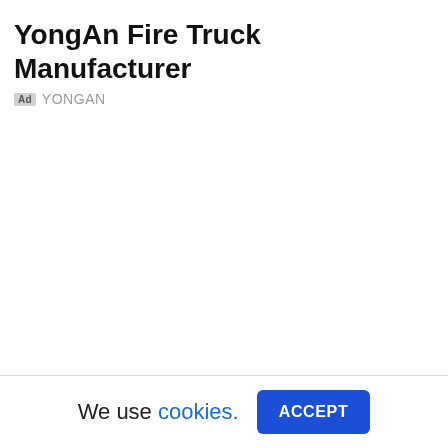YongAn Fire Truck Manufacturer
Ad YONGAN
We use cookies. ACCEPT